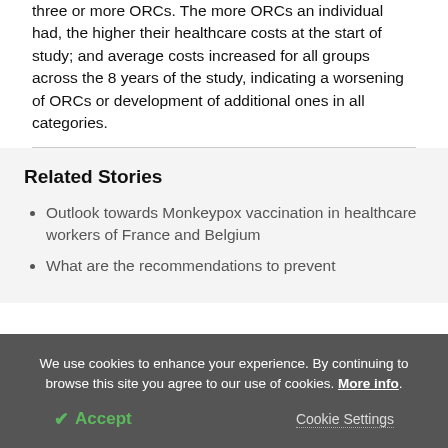three or more ORCs. The more ORCs an individual had, the higher their healthcare costs at the start of study; and average costs increased for all groups across the 8 years of the study, indicating a worsening of ORCs or development of additional ones in all categories.
Related Stories
Outlook towards Monkeypox vaccination in healthcare workers of France and Belgium
What are the recommendations to prevent
We use cookies to enhance your experience. By continuing to browse this site you agree to our use of cookies. More info.